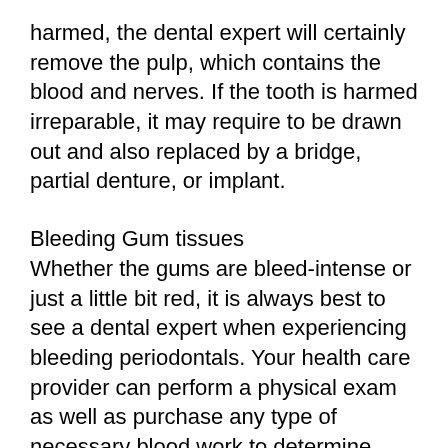harmed, the dental expert will certainly remove the pulp, which contains the blood and nerves. If the tooth is harmed irreparable, it may require to be drawn out and also replaced by a bridge, partial denture, or implant.
Bleeding Gum tissues
Whether the gums are bleed-intense or just a little bit red, it is always best to see a dental expert when experiencing bleeding periodontals. Your health care provider can perform a physical exam as well as purchase any type of necessary blood work to determine what is causing the bleeding gums. Therapy will depend upon the condition. Hemorrhaging periodontals can be a indication of a more serious underlying